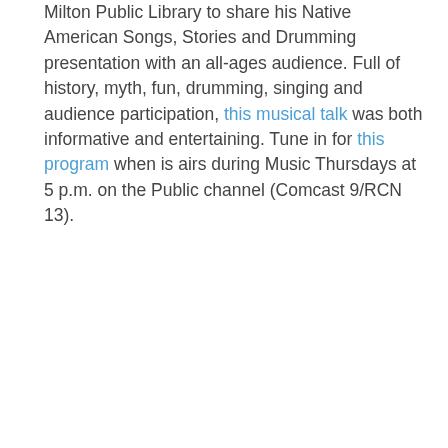Milton Public Library to share his Native American Songs, Stories and Drumming presentation with an all-ages audience. Full of history, myth, fun, drumming, singing and audience participation, this musical talk was both informative and entertaining. Tune in for this program when is airs during Music Thursdays at 5 p.m. on the Public channel (Comcast 9/RCN 13).